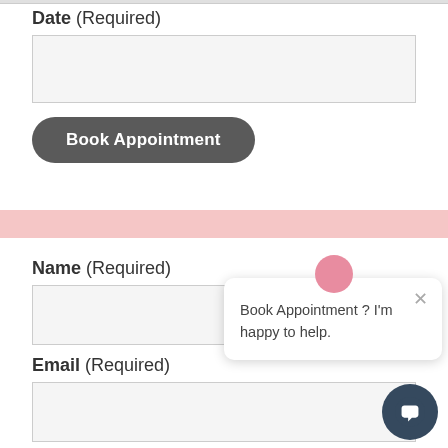Date (Required)
Book Appointment
Name (Required)
Email (Required)
Book Appointment ? I'm happy to help.
By Submitting Your Information, You're Giving Us Permission To Email You. You May Unsubscribe At Any Time.